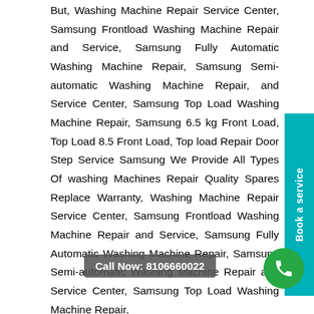But, Washing Machine Repair Service Center, Samsung Frontload Washing Machine Repair and Service, Samsung Fully Automatic Washing Machine Repair, Samsung Semi-automatic Washing Machine Repair, and Service Center, Samsung Top Load Washing Machine Repair, Samsung 6.5 kg Front Load, Top Load 8.5 Front Load, Top load Repair Door Step Service Samsung We Provide All Types Of washing Machines Repair Quality Spares Replace Warranty, Washing Machine Repair Service Center, Samsung Frontload Washing Machine Repair and Service, Samsung Fully Automatic Washing Machine Repair, Samsung Semi-automatic Washing Machine Repair and Service Center, Samsung Top Load Washing Machine Repair, Best Washing Machine Repair, Semi-automatic
Call Now: 8106660022